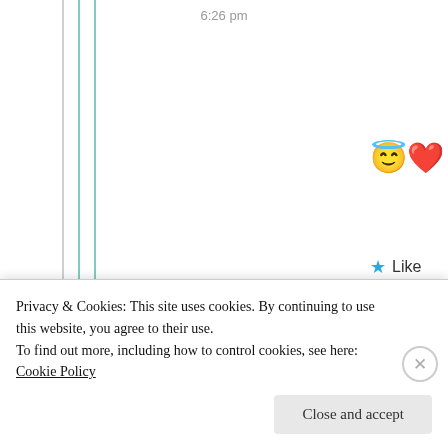6:26 pm
[Figure (illustration): Emoji row: angel face emoji and red heart emoji]
★ Like
Advertisements
[Figure (screenshot): Advertisement banner: F2 logo with text 'Fewer meetings, more work.']
REPORT THIS AD
Jyothi
9th Jun 2021 at 1:51 pm
Privacy & Cookies: This site uses cookies. By continuing to use this website, you agree to their use.
To find out more, including how to control cookies, see here: Cookie Policy
Close and accept